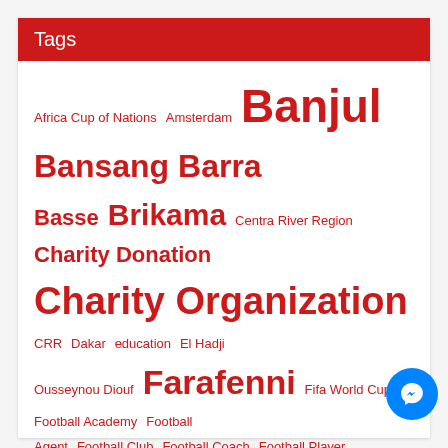Tags
Africa Cup of Nations  Amsterdam  Banjul  Bansang  Barra  Basse  Brikama  Centra River Region  Charity Donation  Charity Organization  CRR  Dakar  education  El Hadji Ousseynou Diouf  Farafenni  Fifa World Cup  Football Academy  Football Agent  Football Club  Football Coach  Football Player  Football Summer Camp In The Gambia  Football Trials  Gambia Schools  Kerr Serign  Kololi  Kombo  Kombos  Lagos  Liverpool  Mayamba  MTN Street Soccer  North Bank Region  Peter's Heerenveen Football Club  Search For Soccer Stars  Senegambia  Serrekunda  Soccer Application